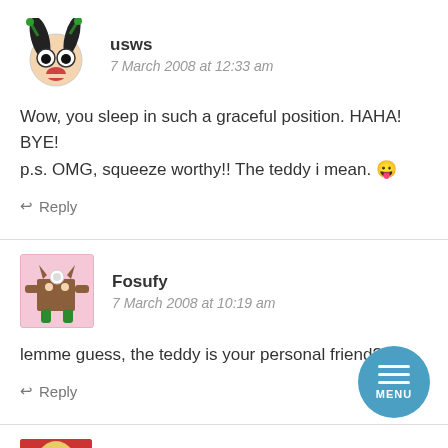[Figure (illustration): Avatar of user usws: cartoon face with green antenna-like hair and wide eyes]
usws
7 March 2008 at 12:33 am
Wow, you sleep in such a graceful position. HAHA! BYE!
p.s. OMG, squeeze worthy!! The teddy i mean. 😛
↩ Reply
[Figure (illustration): Avatar of user Fosufy: cartoon brown monster with horns and green legs on pink background]
Fosufy
7 March 2008 at 10:19 am
lemme guess, the teddy is your personal friend?
↩ Reply
[Figure (illustration): Circular blue menu button with three white horizontal lines and MENU label]
[Figure (photo): Avatar of user Charlotte: blonde person on red background]
Charlotte